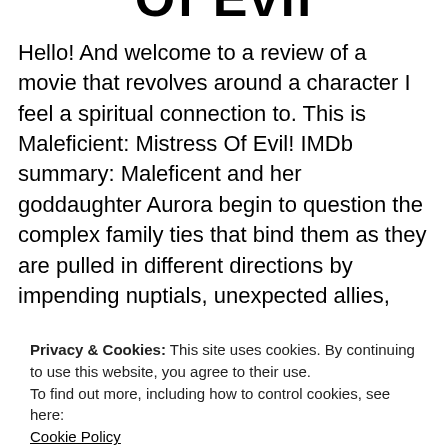Of Evil
Hello! And welcome to a review of a movie that revolves around a character I feel a spiritual connection to. This is Maleficient: Mistress Of Evil! IMDb summary: Maleficent and her goddaughter Aurora begin to question the complex family ties that bind them as they are pulled in different directions by impending nuptials, unexpected allies,
Privacy & Cookies: This site uses cookies. By continuing to use this website, you agree to their use.
To find out more, including how to control cookies, see here:
Cookie Policy
Close and accept
ed skrein, elle fanning, fairytale, film, film review, film reviews,